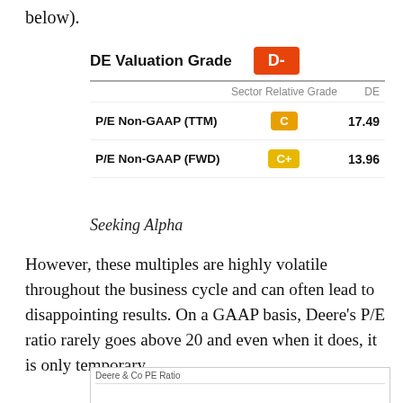below).
|  | Sector Relative Grade | DE |
| --- | --- | --- |
| P/E Non-GAAP (TTM) | C | 17.49 |
| P/E Non-GAAP (FWD) | C+ | 13.96 |
Seeking Alpha
However, these multiples are highly volatile throughout the business cycle and can often lead to disappointing results. On a GAAP basis, Deere’s P/E ratio rarely goes above 20 and even when it does, it is only temporary.
[Figure (other): Partial view of Deere & Co PE Ratio chart, header and top border visible]